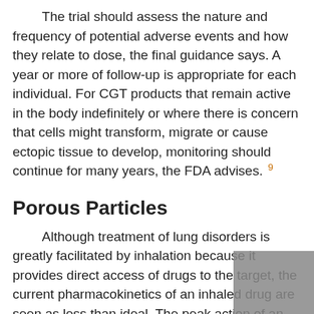The trial should assess the nature and frequency of potential adverse events and how they relate to dose, the final guidance says. A year or more of follow-up is appropriate for each individual. For CGT products that remain active in the body indefinitely or where there is concern that cells might transform, migrate or cause ectopic tissue to develop, monitoring should continue for many years, the FDA advises. 9
Porous Particles
Although treatment of lung disorders is greatly facilitated by inhalation because it provides direct access of drugs to the target, the current pharmacokinetics of an inhaled drug are seen as less than ideal. The peak action of an inhaled agent occurs relatively early and is followed by a steady decline throughout the rest of its action. This creates the potential for adverse events during the period when the drug and its effect are at peak, and a prolonged decline in its